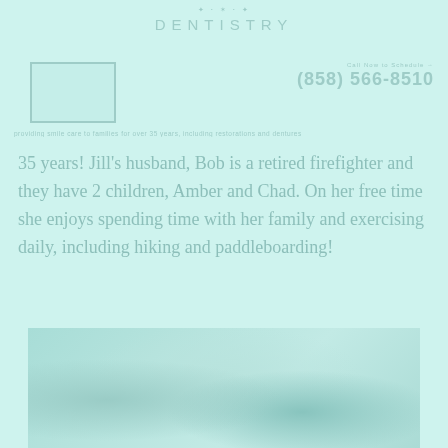DENTISTRY
[Figure (photo): Small portrait photo placeholder box with border]
(858) 566-8510
35 years! Jill's husband, Bob is a retired firefighter and they have 2 children, Amber and Chad. On her free time she enjoys spending time with her family and exercising daily, including hiking and paddleboarding!
[Figure (photo): Group outdoor photo at bottom of page]